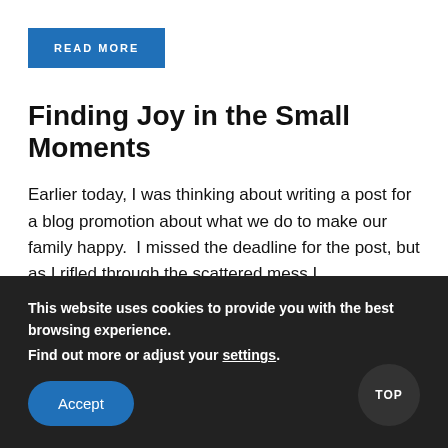READ MORE
Finding Joy in the Small Moments
Earlier today, I was thinking about writing a post for a blog promotion about what we do to make our family happy.  I missed the deadline for the post, but as I rifled through the scattered mess I
This website uses cookies to provide you with the best browsing experience. Find out more or adjust your settings.
Accept
TOP